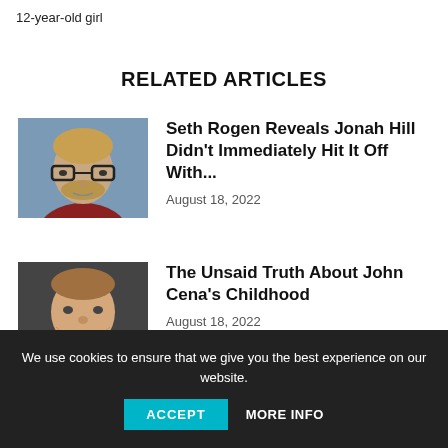12-year-old girl
RELATED ARTICLES
[Figure (photo): Headshot of a man with glasses and a beard, wearing a dark red shirt, with a blue background.]
Seth Rogen Reveals Jonah Hill Didn’t Immediately Hit It Off With...
August 18, 2022
[Figure (photo): Close-up headshot of a man with short hair, wearing a dark jacket, looking slightly to the side.]
The Unsaid Truth About John Cena’s Childhood
August 18, 2022
We use cookies to ensure that we give you the best experience on our website.